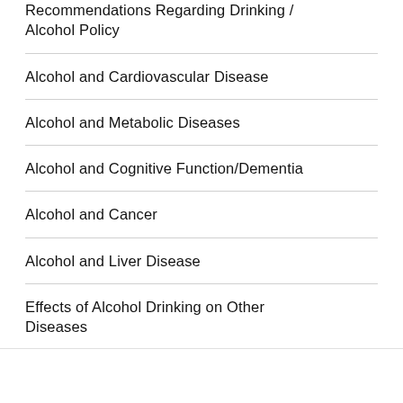Recommendations Regarding Drinking / Alcohol Policy
Alcohol and Cardiovascular Disease
Alcohol and Metabolic Diseases
Alcohol and Cognitive Function/Dementia
Alcohol and Cancer
Alcohol and Liver Disease
Effects of Alcohol Drinking on Other Diseases
Alcohol Drinking and Mortality